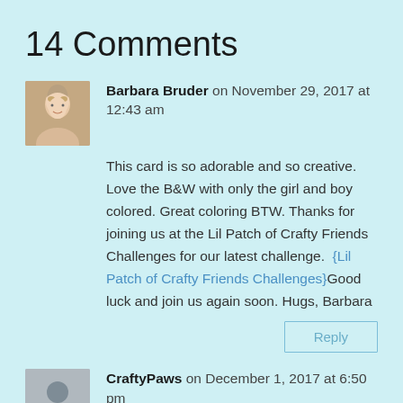14 Comments
Barbara Bruder on November 29, 2017 at 12:43 am
This card is so adorable and so creative. Love the B&W with only the girl and boy colored. Great coloring BTW. Thanks for joining us at the Lil Patch of Crafty Friends Challenges for our latest challenge.  {Lil Patch of Crafty Friends Challenges}Good luck and join us again soon. Hugs, Barbara
Reply
CraftyPaws on December 1, 2017 at 6:50 pm